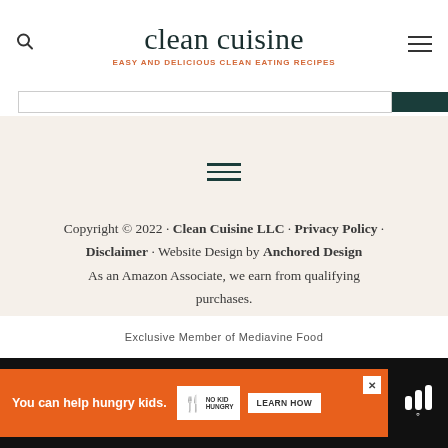clean cuisine — EASY AND DELICIOUS CLEAN EATING RECIPES
[Figure (screenshot): Search bar with dark green submit button]
[Figure (other): Hamburger menu icon (three horizontal lines)]
Copyright © 2022 · Clean Cuisine LLC · Privacy Policy · Disclaimer · Website Design by Anchored Design As an Amazon Associate, we earn from qualifying purchases.
Exclusive Member of Mediavine Food
[Figure (other): Advertisement banner: orange background, 'You can help hungry kids.' No Kid Hungry logo, LEARN HOW button, Mediavine logo on dark right side]